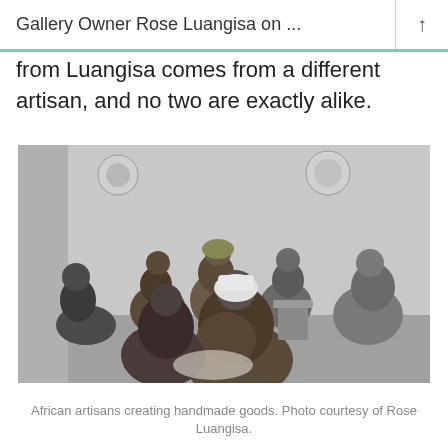Gallery Owner Rose Luangisa on …
from Luangisa comes from a different artisan, and no two are exactly alike.
[Figure (photo): Black and white photograph of a group of African women artisans sitting in a circle in a room, creating handmade goods. They are wearing traditional printed dresses and head wraps.]
African artisans creating handmade goods. Photo courtesy of Rose Luangisa.